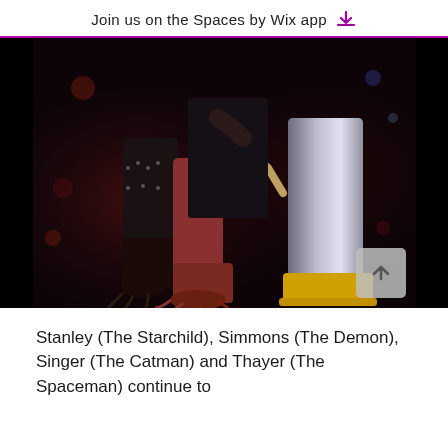Join us on the Spaces by Wix app
[Figure (photo): Concert photo showing KISS band members on stage, close-up of their lower bodies wearing elaborate platform boots and costumes including metallic silver boots, studded black boots with claw-like platform soles, and ornate stage outfits. One member is playing guitar.]
Stanley (The Starchild), Simmons (The Demon), Singer (The Catman) and Thayer (The Spaceman) continue to